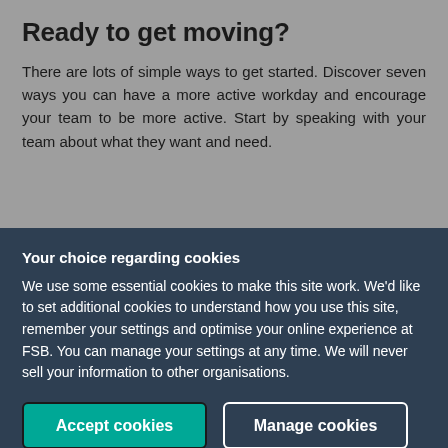Ready to get moving?
There are lots of simple ways to get started. Discover seven ways you can have a more active workday and encourage your team to be more active. Start by speaking with your team about what they want and need.
Your choice regarding cookies
We use some essential cookies to make this site work. We'd like to set additional cookies to understand how you use this site, remember your settings and optimise your online experience at FSB. You can manage your settings at any time. We will never sell your information to other organisations.
Accept cookies
Manage cookies